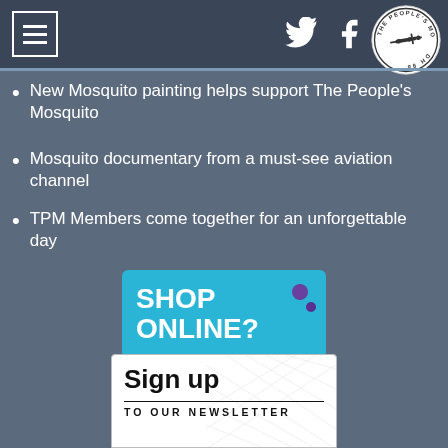The People's Mosquito — header bar with menu, Twitter, Facebook icons and logo
New Mosquito painting helps support The People's Mosquito
Mosquito documentary from a must-see aviation channel
TPM Members come together for an unforgettable day
[Figure (infographic): Shop Online? Raise funds for free with easyfundraising.org.uk — SIGN UP NOW banner in teal/blue]
[Figure (infographic): Sign up TO OUR NEWSLETTER box in white with watermark pattern]